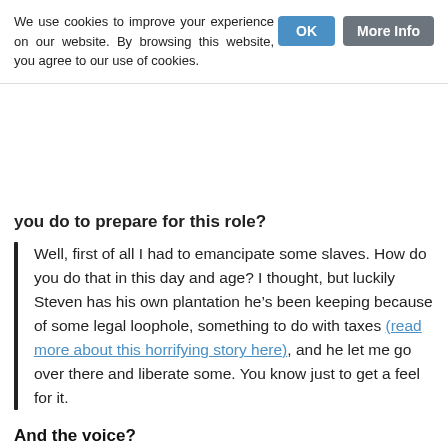We use cookies to improve your experience on our website. By browsing this website, you agree to our use of cookies.
OK
More Info
you do to prepare for this role?
Well, first of all I had to emancipate some slaves. How do you do that in this day and age? I thought, but luckily Steven has his own plantation he’s been keeping because of some legal loophole, something to do with taxes (read more about this horrifying story here), and he let me go over there and liberate some. You know just to get a feel for it.
And the voice?
That was a challenge. I mean how did Lincoln